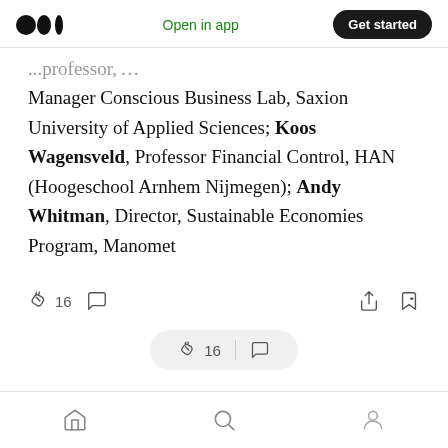Medium app header with logo, Open in app, Get started
Manager Conscious Business Lab, Saxion University of Applied Sciences; Koos Wagensveld, Professor Financial Control, HAN (Hoogeschool Arnhem Nijmegen); Andy Whitman, Director, Sustainable Economies Program, Manomet